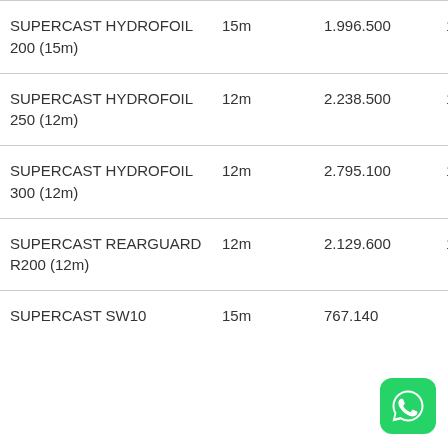| Product | Size | Price | Qty |
| --- | --- | --- | --- |
| SUPERCAST HYDROFOIL 200 (15m) | 15m | 1.996.500 | 1 |
| SUPERCAST HYDROFOIL 250 (12m) | 12m | 2.238.500 | 1 |
| SUPERCAST HYDROFOIL 300 (12m) | 12m | 2.795.100 | 1 |
| SUPERCAST REARGUARD R200 (12m) | 12m | 2.129.600 | 1 |
| SUPERCAST SW10 | 15m | 767.140 |  |
[Figure (logo): WhatsApp icon — green rounded square with white phone handset inside speech bubble]